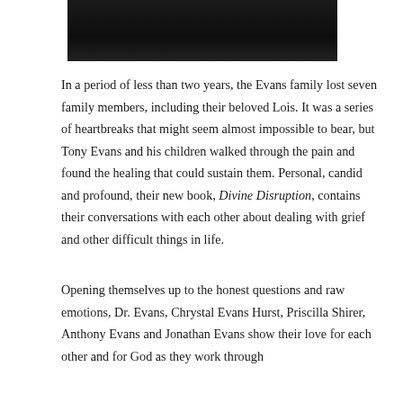[Figure (photo): Dark photograph showing a person, cropped at top of page]
In a period of less than two years, the Evans family lost seven family members, including their beloved Lois. It was a series of heartbreaks that might seem almost impossible to bear, but Tony Evans and his children walked through the pain and found the healing that could sustain them. Personal, candid and profound, their new book, Divine Disruption, contains their conversations with each other about dealing with grief and other difficult things in life.
Opening themselves up to the honest questions and raw emotions, Dr. Evans, Chrystal Evans Hurst, Priscilla Shirer, Anthony Evans and Jonathan Evans show their love for each other and for God as they work through...